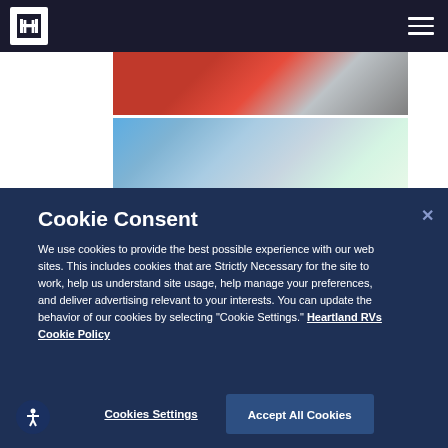Heartland RV website header with logo and navigation menu
[Figure (photo): Partial photo showing red surface and checkered/grey material]
[Figure (photo): Partial photo showing RV dealership with vehicles and red flowers]
Cookie Consent
We use cookies to provide the best possible experience with our web sites. This includes cookies that are Strictly Necessary for the site to work, help us understand site usage, help manage your preferences, and deliver advertising relevant to your interests. You can update the behavior of our cookies by selecting "Cookie Settings." Heartland RVs Cookie Policy
Cookies Settings
Accept All Cookies